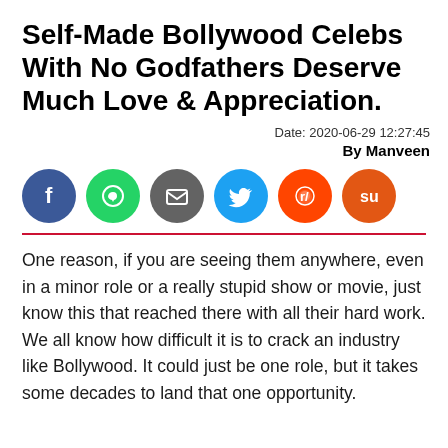Self-Made Bollywood Celebs With No Godfathers Deserve Much Love & Appreciation.
Date: 2020-06-29 12:27:45
By Manveen
[Figure (infographic): Six social media share buttons: Facebook (blue), WhatsApp (green), Email (gray), Twitter (blue), Reddit (orange-red), StumbleUpon (orange-red)]
One reason, if you are seeing them anywhere, even in a minor role or a really stupid show or movie, just know this that reached there with all their hard work. We all know how difficult it is to crack an industry like Bollywood. It could just be one role, but it takes some decades to land that one opportunity.